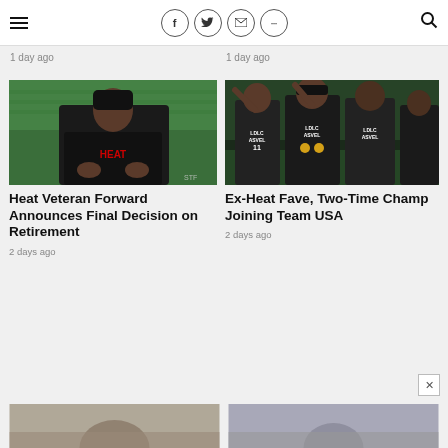Navigation bar with hamburger menu, social icons (Facebook, Twitter, Email, More), and search icon
1 day ago
1 day ago
[Figure (photo): Man in black Heat hoodie and beanie sitting in arena with green seats in background]
Heat Veteran Forward Announces Final Decision on Retirement
2 days ago
[Figure (photo): Basketball players in LDLC ASVEL jerseys celebrating with medals]
Ex-Heat Fave, Two-Time Champ Joining Team USA
2 days ago
[Figure (photo): Partial image of persons, cropped at bottom of page]
[Figure (photo): Partial image of person, cropped at bottom of page]